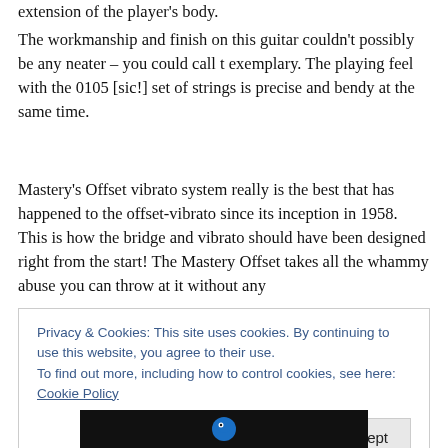extension of the player's body.
The workmanship and finish on this guitar couldn't possibly be any neater – you could call t exemplary. The playing feel with the 0105 [sic!] set of strings is precise and bendy at the same time.
Mastery's Offset vibrato system really is the best that has happened to the offset-vibrato since its inception in 1958. This is how the bridge and vibrato should have been designed right from the start! The Mastery Offset takes all the whammy abuse you can throw at it without any
Privacy & Cookies: This site uses cookies. By continuing to use this website, you agree to their use.
To find out more, including how to control cookies, see here: Cookie Policy
Close and accept